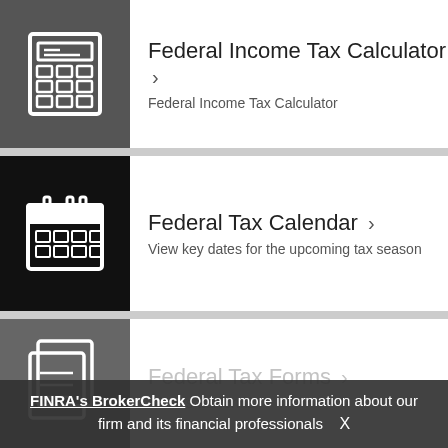[Figure (illustration): Calculator icon on dark grey background]
Federal Income Tax Calculator >
Federal Income Tax Calculator
[Figure (illustration): Calendar icon on black background]
Federal Tax Calendar >
View key dates for the upcoming tax season
[Figure (illustration): Forms/document icon on grey background]
Federal Tax Forms >
Access tax forms
FINRA's BrokerCheck Obtain more information about our firm and its financial professionals  X